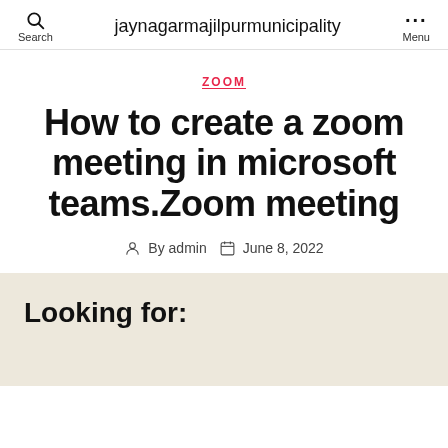jaynagarmajilpurmunicipality | Search | Menu
ZOOM
How to create a zoom meeting in microsoft teams.Zoom meeting
By admin   June 8, 2022
Looking for: